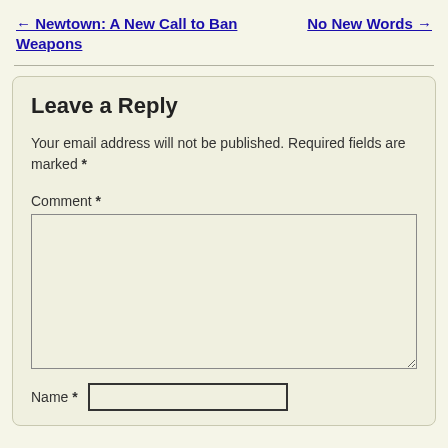← Newtown: A New Call to Ban Weapons
No New Words →
Leave a Reply
Your email address will not be published. Required fields are marked *
Comment *
Name *